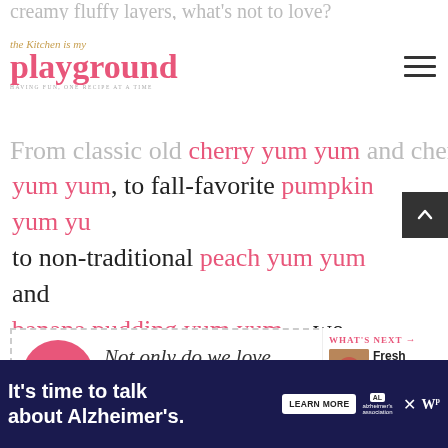The Kitchen is my Playground – having fun, one recipe at a time
creamy fluffy layers, what's not to love?  From classic old cherry yum yum and cherry yum yum, to fall-favorite pumpkin yum yum to non-traditional peach yum yum and banana pudding yum yum -- we love them all.  But while we love them all, there's definitely not full agreement in our home about which one is best.
[Figure (other): Pull quote block with pink circle icon containing quotation marks, text: Not only do we love Strawberry Yum Yum's]
[Figure (other): What's Next panel with strawberry dessert thumbnail, label WHAT'S NEXT and text Fresh Strawberry...]
[Figure (other): Advertisement banner: It's time to talk about Alzheimer's. Learn More button, Alzheimer's Association logo, close X button, WP logo]